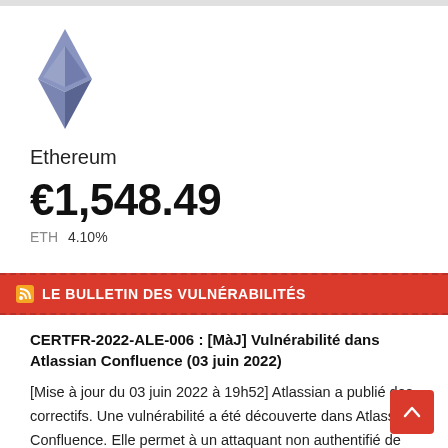[Figure (logo): Ethereum diamond logo in blue/grey tones]
Ethereum
€1,548.49
ETH  4.10%
LE BULLETIN DES VULNÉRABILITÉS
CERTFR-2022-ALE-006 : [MàJ] Vulnérabilité dans Atlassian Confluence (03 juin 2022)
[Mise à jour du 03 juin 2022 à 19h52] Atlassian a publié des correctifs. Une vulnérabilité a été découverte dans Atlassian Confluence. Elle permet à un attaquant non authentifié de provoquer une exécution de code arbitraire à distance. Cette vulnérabilité est ...